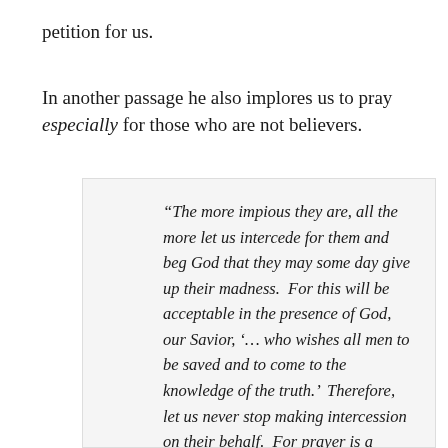petition for us.
In another passage he also implores us to pray especially for those who are not believers.
“The more impious they are, all the more let us intercede for them and beg God that they may some day give up their madness.  For this will be acceptable in the presence of God, our Savior, ‘… who wishes all men to be saved and to come to the knowledge of the truth.’  Therefore, let us never stop making intercession on their behalf.  For prayer is a